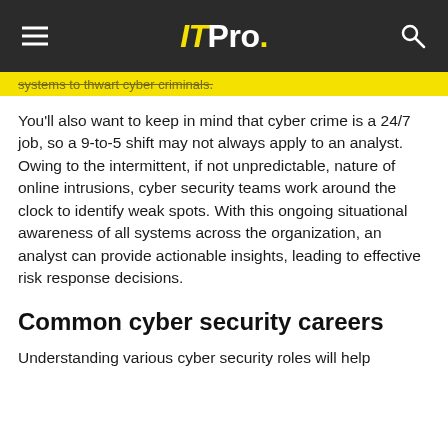IT Pro.
systems to thwart cyber criminals.
You'll also want to keep in mind that cyber crime is a 24/7 job, so a 9-to-5 shift may not always apply to an analyst. Owing to the intermittent, if not unpredictable, nature of online intrusions, cyber security teams work around the clock to identify weak spots. With this ongoing situational awareness of all systems across the organization, an analyst can provide actionable insights, leading to effective risk response decisions.
Common cyber security careers
Understanding various cyber security roles will help